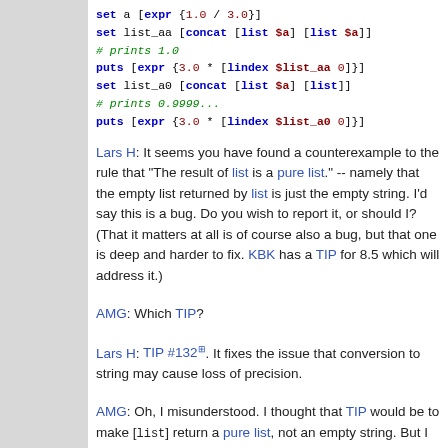[Figure (screenshot): Code block showing Tcl code with set, puts, concat, list, lindex commands and comments]
Lars H: It seems you have found a counterexample to the rule that "The result of list is a pure list." -- namely that the empty list returned by list is just the empty string. I'd say this is a bug. Do you wish to report it, or should I? (That it matters at all is of course also a bug, but that one is deep and harder to fix. KBK has a TIP for 8.5 which will address it.)
AMG: Which TIP?
Lars H: TIP #132. It fixes the issue that conversion to string may cause loss of precision.
AMG: Oh, I misunderstood. I thought that TIP would be to make [list] return a pure list, not an empty string. But I do appreciate what #132 does.